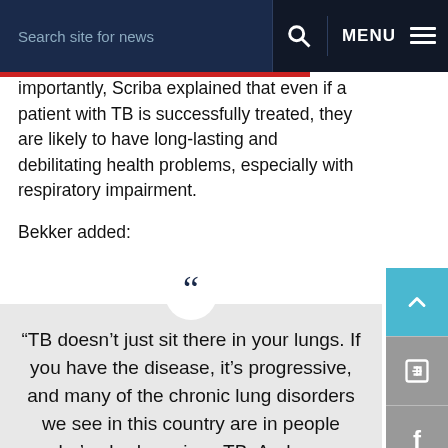Search site for news   MENU
importantly, Scriba explained that even if a patient with TB is successfully treated, they are likely to have long-lasting and debilitating health problems, especially with respiratory impairment.
Bekker added:
“TB doesn’t just sit there in your lungs. If you have the disease, it’s progressive, and many of the chronic lung disorders we see in this country are in people who’ve had previous TB. And once you’ve had previous TB, even if you’ve been treated, you have